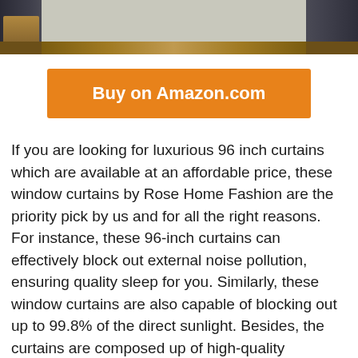[Figure (photo): Partial view of dark gray/charcoal blackout curtains hanging in a room, with wooden flooring visible at the bottom and a light-colored wall in the center background. A piece of wooden furniture is partially visible on the left.]
Buy on Amazon.com
If you are looking for luxurious 96 inch curtains which are available at an affordable price, these window curtains by Rose Home Fashion are the priority pick by us and for all the right reasons. For instance, these 96-inch curtains can effectively block out external noise pollution, ensuring quality sleep for you. Similarly, these window curtains are also capable of blocking out up to 99.8% of the direct sunlight. Besides, the curtains are composed up of high-quality thermally